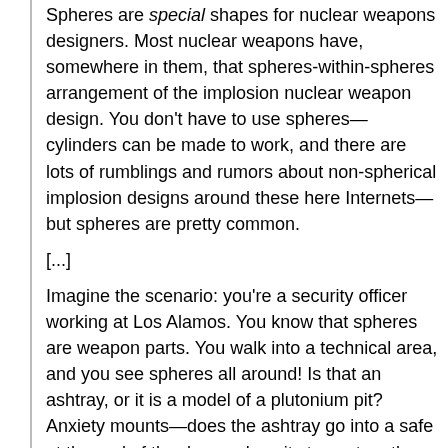Spheres are special shapes for nuclear weapons designers. Most nuclear weapons have, somewhere in them, that spheres-within-spheres arrangement of the implosion nuclear weapon design. You don't have to use spheres—cylinders can be made to work, and there are lots of rumblings and rumors about non-spherical implosion designs around these here Internets—but spheres are pretty common.
[...]
Imagine the scenario: you're a security officer working at Los Alamos. You know that spheres are weapon parts. You walk into a technical area, and you see spheres all around! Is that an ashtray, or it is a model of a plutonium pit? Anxiety mounts—does the ashtray go into a safe at the end of the day, or does it stay out on the desk? (Has someone been tapping their cigarettes out into the pit model?)
All of this anxiety can be gone—gone!—by simply banning all non-nuclear spheres! That way you can effectively treat all spheres as sensitive shapes.